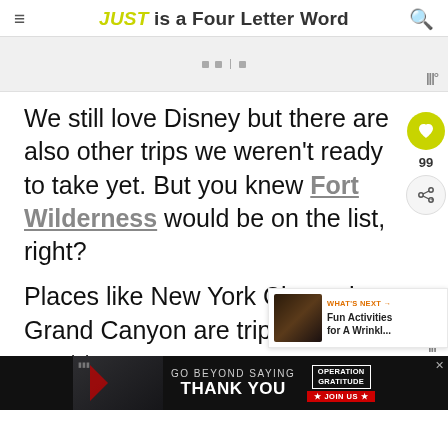JUST is a Four Letter Word
[Figure (other): Advertisement banner placeholder with dots and vertical separator, and a watermark icon in the bottom right]
We still love Disney but there are also other trips we weren't ready to take yet. But you knew Fort Wilderness would be on the list, right?
Places like New York City or the Grand Canyon are trips we really want to enjoy and remember so visiting when they we... plan.
[Figure (other): What's Next overlay: thumbnail image with label 'WHAT'S NEXT' and text 'Fun Activities for A Wrinkl...']
[Figure (other): Advertisement banner at bottom: GO BEYOND SAYING THANK YOU - Operation Gratitude JOIN US]